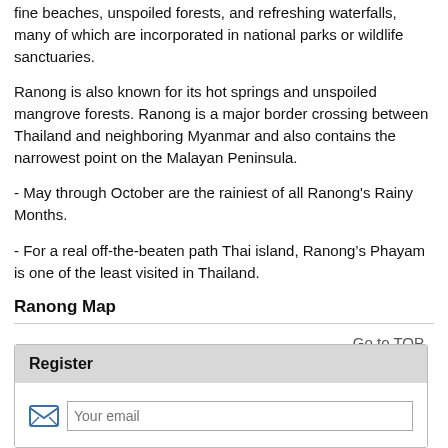fine beaches, unspoiled forests, and refreshing waterfalls, many of which are incorporated in national parks or wildlife sanctuaries.
Ranong is also known for its hot springs and unspoiled mangrove forests. Ranong is a major border crossing between Thailand and neighboring Myanmar and also contains the narrowest point on the Malayan Peninsula.
- May through October are the rainiest of all Ranong's Rainy Months.
- For a real off-the-beaten path Thai island, Ranong’s Phayam is one of the least visited in Thailand.
Ranong Map
Go to TOP
Register
Your email